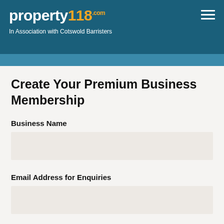property118.com — In Association with Cotswold Barristers
Create Your Premium Business Membership
Business Name
Email Address for Enquiries